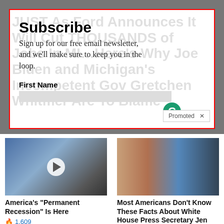[Figure (screenshot): Screenshot of a news website with a headline partially obscured by a newsletter subscribe overlay. Headline reads: JUST As Ford Announces It Will Cut THOUSANDS of Jobs In MI...Here's Why Joe Biden and Michigan's Incompetent Gov Gretchen Whitmer Are To Blame. Overlay says Subscribe with sign-up form.]
Subscribe
Sign up for our free email newsletter, and we'll make sure to keep you in the loop.
First Name
Promoted ×
[Figure (photo): Photo of Joe Biden speaking at a podium with flags in the background, with a video play button overlay]
America's "Permanent Recession" Is Here
🔥 1,609
[Figure (photo): Side-by-side photos of Jen Psaki (woman in red top) and Donald Trump]
Most Americans Don't Know These Facts About White House Press Secretary Jen Psaki
🔥 13,603